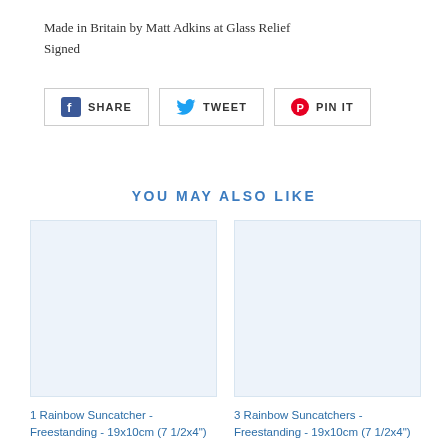Made in Britain by Matt Adkins at Glass Relief
Signed
[Figure (infographic): Social sharing buttons: Facebook SHARE, Twitter TWEET, Pinterest PIN IT]
YOU MAY ALSO LIKE
[Figure (photo): Product image placeholder - light blue background for 1 Rainbow Suncatcher - Freestanding - 19x10cm (7 1/2x4")]
1 Rainbow Suncatcher - Freestanding - 19x10cm (7 1/2x4")
[Figure (photo): Product image placeholder - light blue background for 3 Rainbow Suncatchers - Freestanding - 19x10cm (7 1/2x4")]
3 Rainbow Suncatchers - Freestanding - 19x10cm (7 1/2x4")